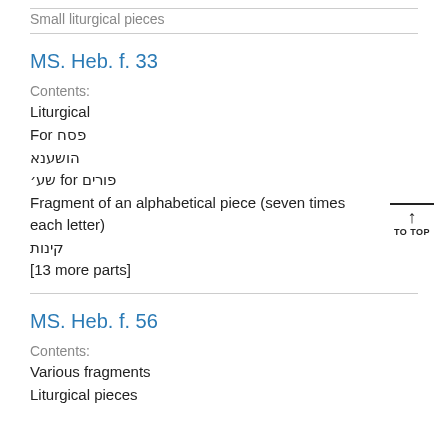Small liturgical pieces
MS. Heb. f. 33
Contents:
Liturgical
For פסח
הושענא
פורים for שע׳
Fragment of an alphabetical piece (seven times each letter)
קינות
[13 more parts]
MS. Heb. f. 56
Contents:
Various fragments
Liturgical pieces